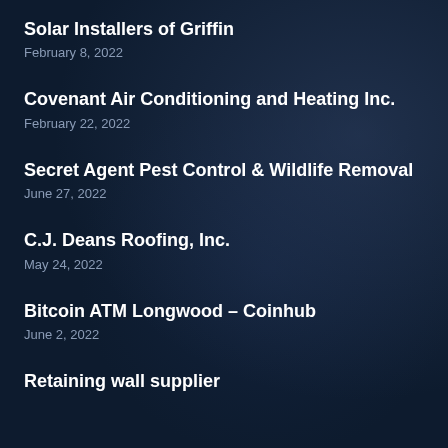Solar Installers of Griffin
February 8, 2022
Covenant Air Conditioning and Heating Inc.
February 22, 2022
Secret Agent Pest Control & Wildlife Removal
June 27, 2022
C.J. Deans Roofing, Inc.
May 24, 2022
Bitcoin ATM Longwood – Coinhub
June 2, 2022
Retaining wall supplier